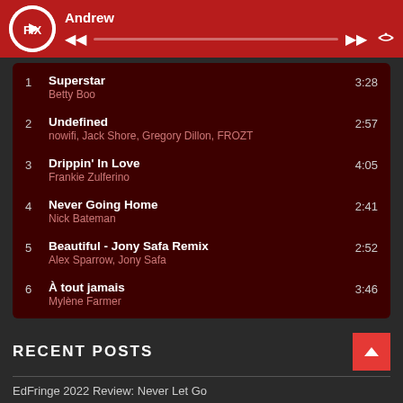[Figure (screenshot): Music player header with logo, Andrew label, playback controls and progress bar]
1  Superstar  3:28
Betty Boo
2  Undefined  2:57
nowifi, Jack Shore, Gregory Dillon, FROZT
3  Drippin' In Love  4:05
Frankie Zulferino
4  Never Going Home  2:41
Nick Bateman
5  Beautiful - Jony Safa Remix  2:52
Alex Sparrow, Jony Safa
6  À tout jamais  3:46
Mylène Farmer
RECENT POSTS
EdFringe 2022 Review: Never Let Go